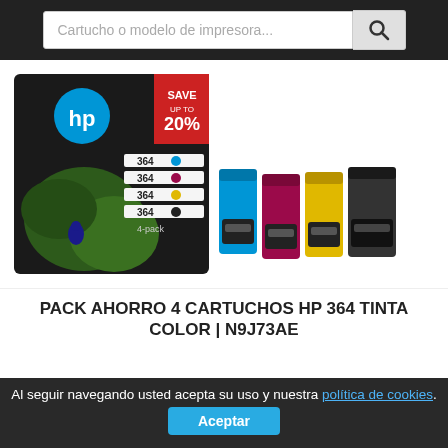Cartucho o modelo de impresora...
[Figure (photo): HP 364 4-pack ink cartridge product box showing cyan, magenta, yellow, and black cartridges. Box has 'SAVE UP TO 20%' red banner. Four individual cartridges shown to the right: cyan, magenta, yellow, and black.]
PACK AHORRO 4 CARTUCHOS HP 364 TINTA COLOR | N9J73AE
Al seguir navegando usted acepta su uso y nuestra política de cookies. Aceptar